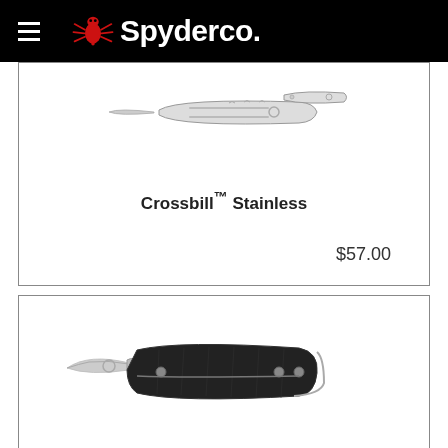[Figure (logo): Spyderco logo with red spider icon and white Spyderco text on black background, with hamburger menu icon on left]
[Figure (photo): Crossbill Stainless folding knife, stainless steel, shown open and closed]
Crossbill™ Stainless
$57.00
[Figure (photo): Spyderco folding knife with black G10 handle and stainless blade, shown open]